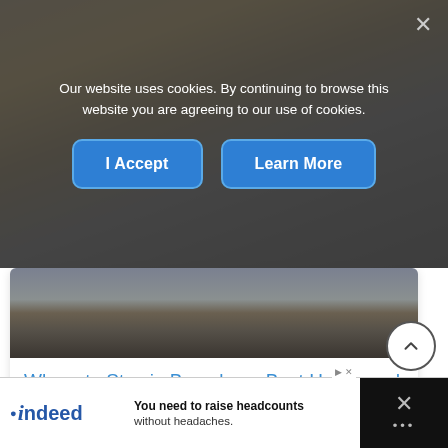Our website uses cookies. By continuing to browse this website you are agreeing to our use of cookies.
[Figure (screenshot): Cookie consent overlay with two blue buttons: 'I Accept' and 'Learn More', on a darkened background showing a Barcelona street scene with parked motorcycles and buildings.]
Where to Stay in Barcelona: Best Hotels and Neighborhoods
[Figure (screenshot): Advertisement banner at the bottom: Indeed logo on left, text 'You need to raise headcounts without headaches.' in the middle, dark section with X close button on the right.]